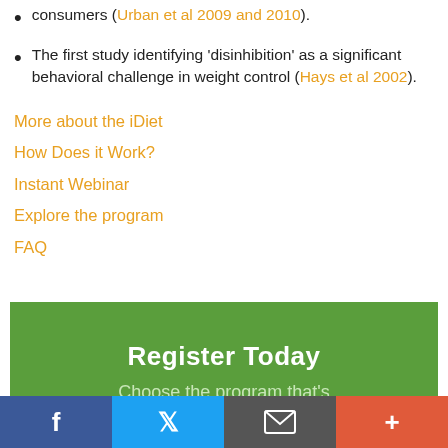consumers (Urban et al 2009 and 2010).
The first study identifying ‘disinhibition’ as a significant behavioral challenge in weight control (Hays et al 2002).
More about the iDiet
How Does it Work?
Instant Webinar
Explore the program
FAQ
Register Today
Choose the program that's